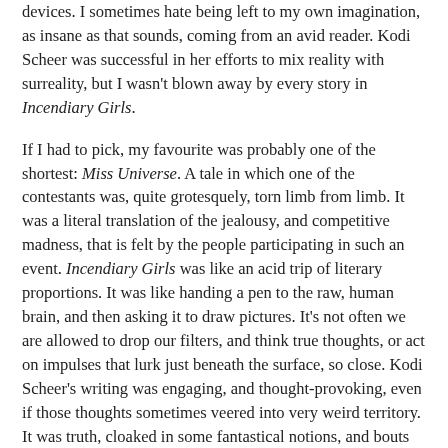devices. I sometimes hate being left to my own imagination, as insane as that sounds, coming from an avid reader. Kodi Scheer was successful in her efforts to mix reality with surreality, but I wasn't blown away by every story in Incendiary Girls.
If I had to pick, my favourite was probably one of the shortest: Miss Universe. A tale in which one of the contestants was, quite grotesquely, torn limb from limb. It was a literal translation of the jealousy, and competitive madness, that is felt by the people participating in such an event. Incendiary Girls was like an acid trip of literary proportions. It was like handing a pen to the raw, human brain, and then asking it to draw pictures. It's not often we are allowed to drop our filters, and think true thoughts, or act on impulses that lurk just beneath the surface, so close. Kodi Scheer's writing was engaging, and thought-provoking, even if those thoughts sometimes veered into very weird territory. It was truth, cloaked in some fantastical notions, and bouts of magic.
Incendiary Girls was definitely one of the most strange, but invoking, narratives I've read thus far. If you're in the mood